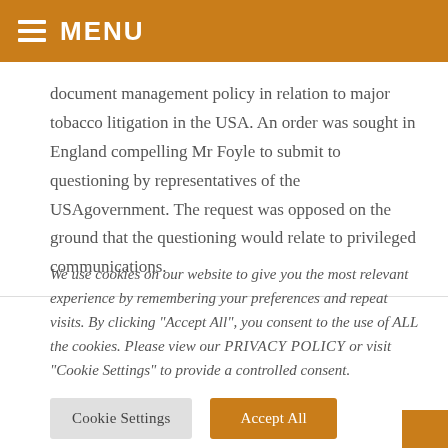MENU
document management policy in relation to major tobacco litigation in the USA. An order was sought in England compelling Mr Foyle to submit to questioning by representatives of the USAgovernment. The request was opposed on the ground that the questioning would relate to privileged communications.
We use cookies on our website to give you the most relevant experience by remembering your preferences and repeat visits. By clicking "Accept All", you consent to the use of ALL the cookies. Please view our PRIVACY POLICY or visit "Cookie Settings" to provide a controlled consent.